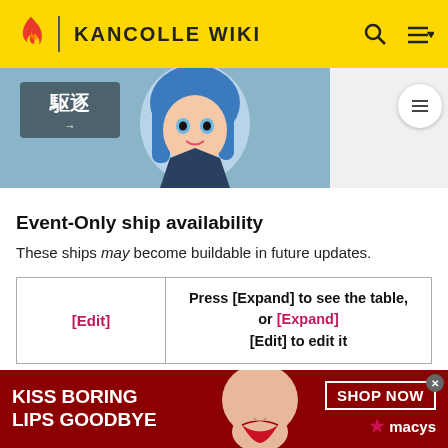KANCOLLE WIKI
[Figure (screenshot): Anime character with blue hair from KanColle wiki page]
Event-Only ship availability
These ships may become buildable in future updates.
| [Edit] | Press [Expand] to see the table, or [Expand] [Edit] to edit it |
| --- | --- |
Ships buildable only via large construction
[Figure (photo): Macy's advertisement banner: KISS BORING LIPS GOODBYE, SHOP NOW with Macy's logo]